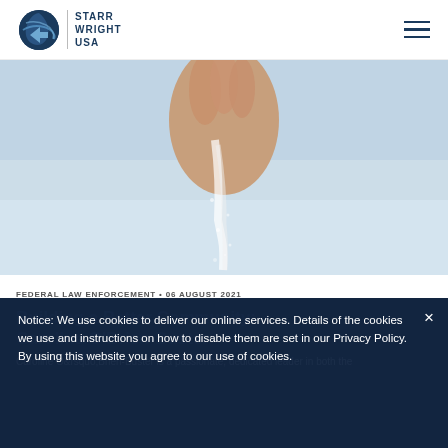[Figure (logo): Starr Wright USA logo with globe icon and text]
[Figure (photo): Close-up photo of a hand holding or pouring white powder/sugar]
FEDERAL LAW ENFORCEMENT • 06 AUGUST 2021
Building a Better Community: Caroline O'Brien-Buster
Caroline O'Brien-Buster is a passionate, dedicated leader in both the
Notice: We use cookies to deliver our online services. Details of the cookies we use and instructions on how to disable them are set in our Privacy Policy. By using this website you agree to our use of cookies.